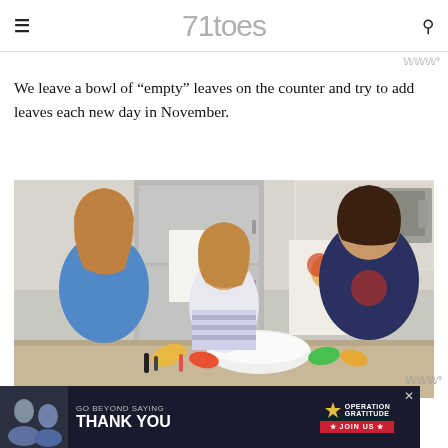71toes
We leave a bowl of “empty” leaves on the counter and try to add leaves each new day in November.
[Figure (photo): Three children sitting at a kitchen counter writing on leaf-shaped paper cutouts. A white bowl sits in the center. A colorful tree artwork is visible in the background near the refrigerator.]
[Figure (screenshot): Advertisement banner: GO BEYOND SAYING THANK YOU - OPERATION GRATITUDE JOIN US]